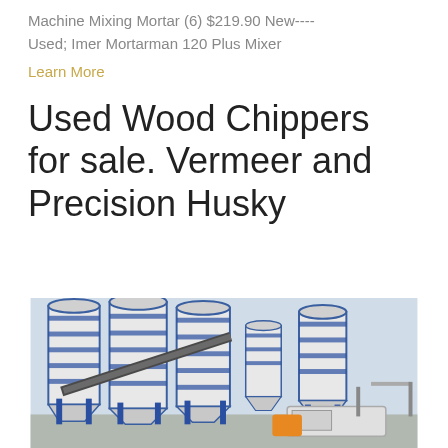Machine Mixing Mortar (6) $219.90 New---- Used; Imer Mortarman 120 Plus Mixer
Learn More
Used Wood Chippers for sale. Vermeer and Precision Husky
[Figure (photo): Industrial concrete batching plant with multiple large blue and white cylindrical silos, conveyor belts, and mixing equipment against a light sky background.]